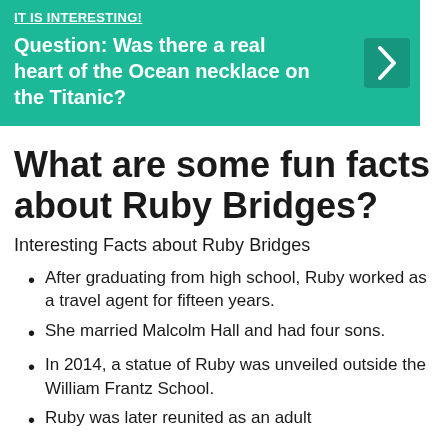[Figure (other): Teal/green banner with a link at top (partially cut off), bold question text 'Question: Was there a real heart of the Ocean necklace on the Titanic?' and a right-arrow button on the right side.]
What are some fun facts about Ruby Bridges?
Interesting Facts about Ruby Bridges
After graduating from high school, Ruby worked as a travel agent for fifteen years.
She married Malcolm Hall and had four sons.
In 2014, a statue of Ruby was unveiled outside the William Frantz School.
Ruby was later reunited as an adult